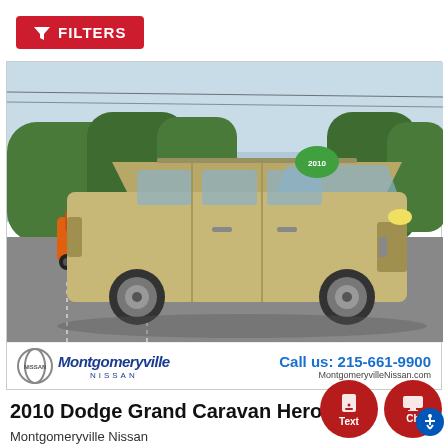FILTERS
[Figure (photo): Gold/champagne 2010 Dodge Grand Caravan Hero minivan parked in a lot at Montgomeryville Nissan dealership. Dealer banner at bottom shows Nissan Montgomeryville logo and 'Call us: 215-661-9900 MontgomeryvilleNissan.com']
2010 Dodge Grand Caravan Hero
Montgomeryville Nissan
Mileage: 105,539
Stock: 22N0178C